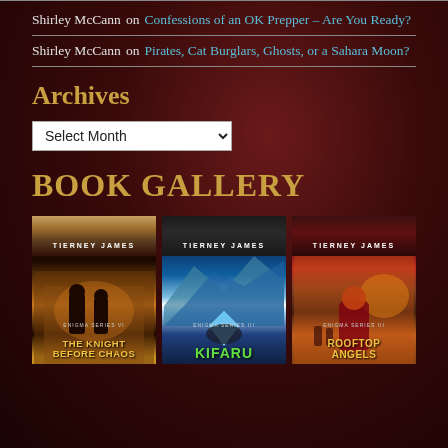Shirley McCann on Confessions of an OK Prepper – Are You Ready?
Shirley McCann on Pirates, Cat Burglars, Ghosts, or a Sahara Moon?
Archives
Select Month
BOOK GALLERY
[Figure (photo): Three book covers by Tierney James: 'The Knight Before Chaos', 'Kifaru', and 'Rooftop Angels']